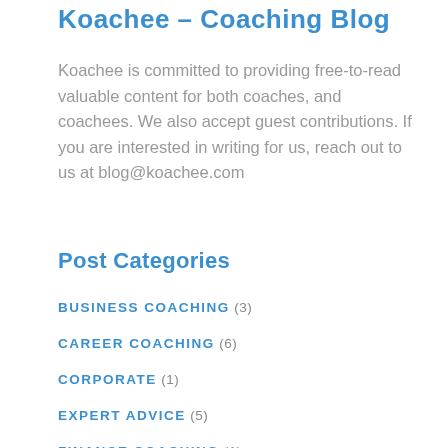Koachee – Coaching Blog
Koachee is committed to providing free-to-read valuable content for both coaches, and coachees. We also accept guest contributions. If you are interested in writing for us, reach out to us at blog@koachee.com
Post Categories
BUSINESS COACHING (3)
CAREER COACHING (6)
CORPORATE (1)
EXPERT ADVICE (5)
FINANCE COACHING (1)